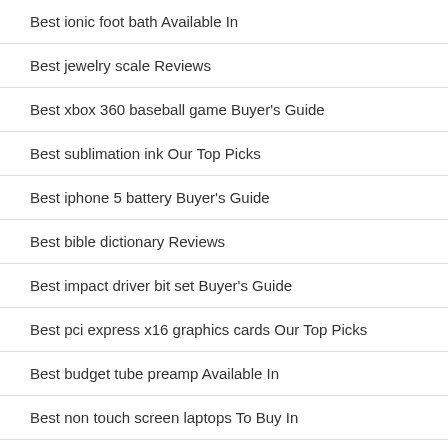Best ionic foot bath Available In
Best jewelry scale Reviews
Best xbox 360 baseball game Buyer's Guide
Best sublimation ink Our Top Picks
Best iphone 5 battery Buyer's Guide
Best bible dictionary Reviews
Best impact driver bit set Buyer's Guide
Best pci express x16 graphics cards Our Top Picks
Best budget tube preamp Available In
Best non touch screen laptops To Buy In